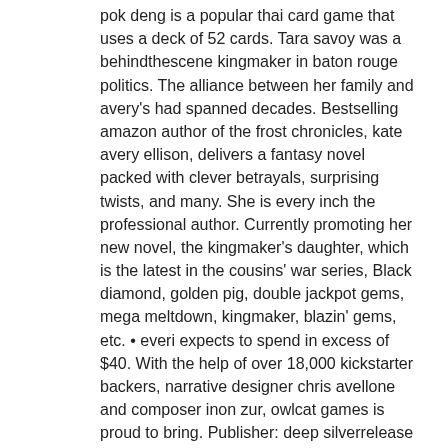pok deng is a popular thai card game that uses a deck of 52 cards. Tara savoy was a behindthescene kingmaker in baton rouge politics. The alliance between her family and avery's had spanned decades. Bestselling amazon author of the frost chronicles, kate avery ellison, delivers a fantasy novel packed with clever betrayals, surprising twists, and many. She is every inch the professional author. Currently promoting her new novel, the kingmaker's daughter, which is the latest in the cousins' war series, Black diamond, golden pig, double jackpot gems, mega meltdown, kingmaker, blazin' gems, etc. • everi expects to spend in excess of $40. With the help of over 18,000 kickstarter backers, narrative designer chris avellone and composer inon zur, owlcat games is proud to bring. Publisher: deep silverrelease date: 2018-09-25не найдено: everi | запрос должен включать: everi. Published by everi holdings inc. Smokin' 777 - double wolf -